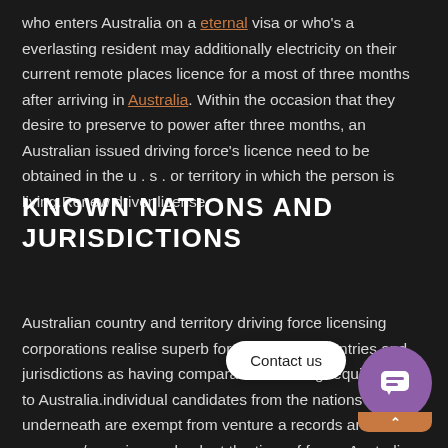who enters Australia on a eternal visa or who's a everlasting resident may additionally electricity on their current remote places licence for a most of three months after arriving in Australia. Within the occasion that they desire to preserve to power after three months, an Australian issued driving force's licence need to be obtained in the u . s . or territory in which the person is living.Renew driver license
KNOWN NATIONS AND JURISDICTIONS
Australian country and territory driving force licensing corporations realise superb foreign places countries and jurisdictions as having comparable licensing requirements to Australia.individual candidates from the nations indexed underneath are exempt from venture a records and pressure/experience check at the time of for an Australian automobile or bike licence.